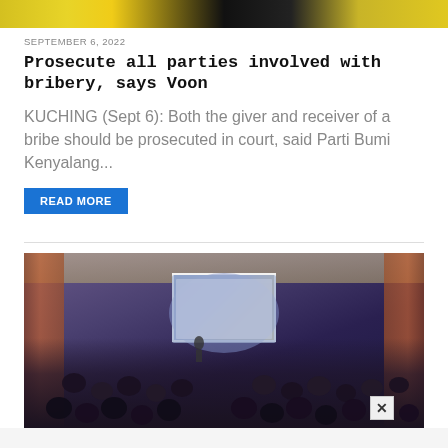[Figure (photo): Partial top image strip showing yellow and black colors, likely a sports or event photo cropped at top of page]
SEPTEMBER 6, 2022
Prosecute all parties involved with bribery, says Voon
KUCHING (Sept 6): Both the giver and receiver of a bribe should be prosecuted in court, said Parti Bumi Kenyalang...
READ MORE
[Figure (photo): Conference room scene with audience seated at round tables, a presenter at the front, and a large projection screen displaying a slide. The room has warm-toned walls and sophisticated lighting. A small X close button appears at the bottom right of the image.]